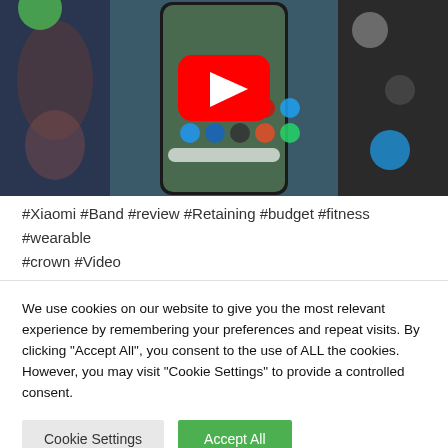[Figure (screenshot): YouTube video thumbnail showing a hand holding a smartphone displaying Android home screen apps, with a red YouTube play button overlay in the center. Dark background on sides.]
#Xiaomi #Band #review #Retaining #budget #fitness #wearable #crown #Video
We use cookies on our website to give you the most relevant experience by remembering your preferences and repeat visits. By clicking "Accept All", you consent to the use of ALL the cookies. However, you may visit "Cookie Settings" to provide a controlled consent.
Cookie Settings | Accept All